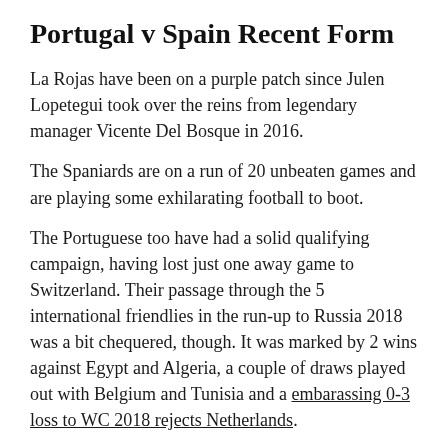Portugal v Spain Recent Form
La Rojas have been on a purple patch since Julen Lopetegui took over the reins from legendary manager Vicente Del Bosque in 2016.
The Spaniards are on a run of 20 unbeaten games and are playing some exhilarating football to boot.
The Portuguese too have had a solid qualifying campaign, having lost just one away game to Switzerland. Their passage through the 5 international friendlies in the run-up to Russia 2018 was a bit chequered, though. It was marked by 2 wins against Egypt and Algeria, a couple of draws played out with Belgium and Tunisia and a embarassing 0-3 loss to WC 2018 rejects Netherlands.